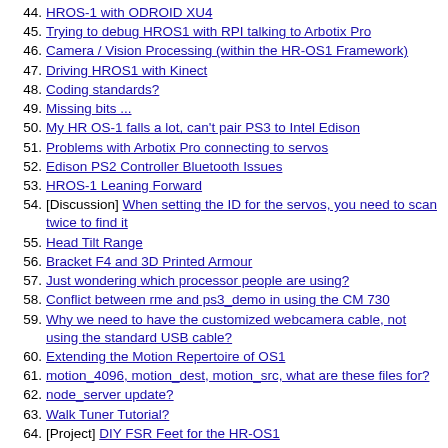44. HROS-1 with ODROID XU4
45. Trying to debug HROS1 with RPI talking to Arbotix Pro
46. Camera / Vision Processing (within the HR-OS1 Framework)
47. Driving HROS1 with Kinect
48. Coding standards?
49. Missing bits ...
50. My HR OS-1 falls a lot, can't pair PS3 to Intel Edison
51. Problems with Arbotix Pro connecting to servos
52. Edison PS2 Controller Bluetooth Issues
53. HROS-1 Leaning Forward
54. [Discussion] When setting the ID for the servos, you need to scan twice to find it
55. Head Tilt Range
56. Bracket F4 and 3D Printed Armour
57. Just wondering which processor people are using?
58. Conflict between rme and ps3_demo in using the CM 730
59. Why we need to have the customized webcamera cable, not using the standard USB cable?
60. Extending the Motion Repertoire of OS1
61. motion_4096, motion_dest, motion_src, what are these files for?
62. node_server update?
63. Walk Tuner Tutorial?
64. [Project] DIY FSR Feet for the HR-OS1
65. Indiegogo - Alpha 2
66. Add offset to servo positions?
67. [Interesting] Raspberry Pi custom services
68. HR-OS1 + Pi Zero (HR-OS-Zero?)